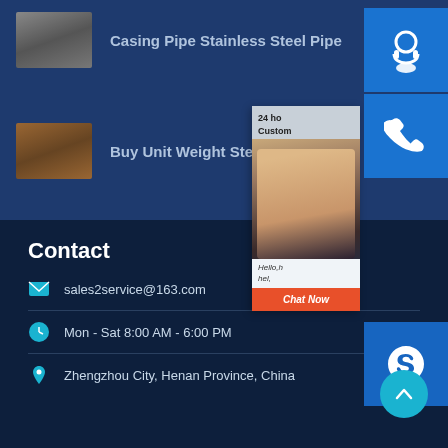[Figure (photo): Steel sheet/plate product image thumbnail]
Casing Pipe Stainless Steel Pipe
[Figure (photo): Steel plate/coil product image thumbnail]
Buy Unit Weight Steel Plate
[Figure (screenshot): Chat popup with 24h customer service, photo of smiling woman, Hello message, and Chat Now button]
[Figure (infographic): Blue customer support icon (headset)]
[Figure (infographic): Blue phone call icon]
[Figure (infographic): Blue Skype icon]
Contact
sales2service@163.com
Mon - Sat 8:00 AM - 6:00 PM
Zhengzhou City, Henan Province, China